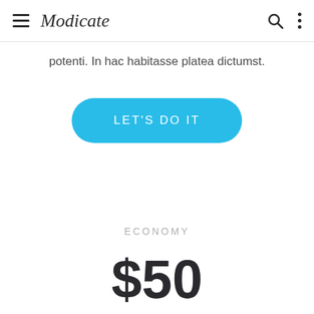Modicate
potenti. In hac habitasse platea dictumst.
LET'S DO IT
ECONOMY
$50